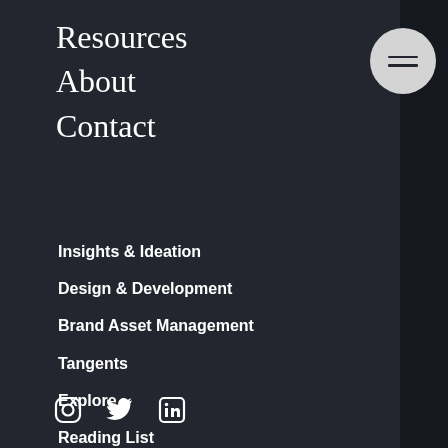Resources
About
Contact
Insights & Ideation
Design & Development
Brand Asset Management
Tangents
Explore
Reading List
Guidebooks
Work With Us
[Figure (illustration): Social media icons: Instagram, Twitter, LinkedIn]